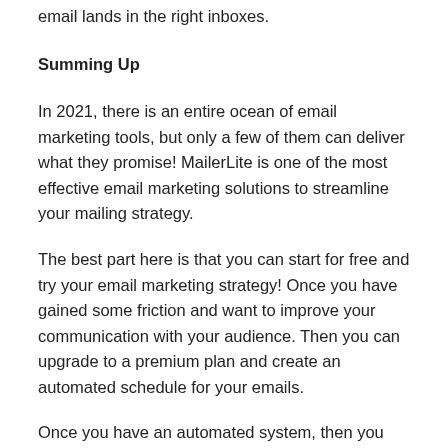email lands in the right inboxes.
Summing Up
In 2021, there is an entire ocean of email marketing tools, but only a few of them can deliver what they promise! MailerLite is one of the most effective email marketing solutions to streamline your mailing strategy.
The best part here is that you can start for free and try your email marketing strategy! Once you have gained some friction and want to improve your communication with your audience. Then you can upgrade to a premium plan and create an automated schedule for your emails.
Once you have an automated system, then you can segment your audience based on their buyer journey. (Their stage of engagement: Awareness, Interest, Direction, Action).